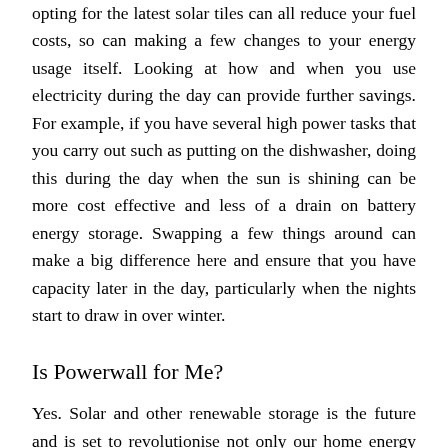opting for the latest solar tiles can all reduce your fuel costs, so can making a few changes to your energy usage itself. Looking at how and when you use electricity during the day can provide further savings. For example, if you have several high power tasks that you carry out such as putting on the dishwasher, doing this during the day when the sun is shining can be more cost effective and less of a drain on battery energy storage. Swapping a few things around can make a big difference here and ensure that you have capacity later in the day, particularly when the nights start to draw in over winter.
Is Powerwall for Me?
Yes. Solar and other renewable storage is the future and is set to revolutionise not only our home energy production and consumption but on a larger scale too. Tesla are also working on industrial scale storage which